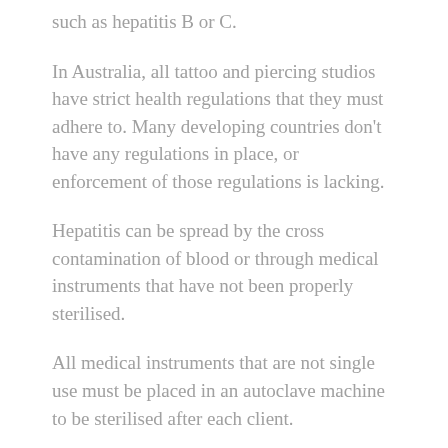such as hepatitis B or C.
In Australia, all tattoo and piercing studios have strict health regulations that they must adhere to. Many developing countries don't have any regulations in place, or enforcement of those regulations is lacking.
Hepatitis can be spread by the cross contamination of blood or through medical instruments that have not been properly sterilised.
All medical instruments that are not single use must be placed in an autoclave machine to be sterilised after each client.
If you are planning on getting a tattoo in a different country its advisable to